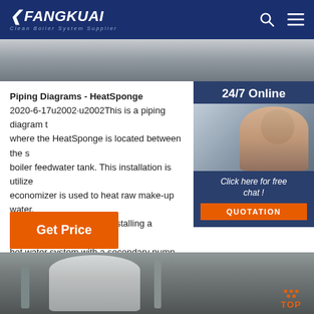FANGKUAI Clean Boiler System Supplier
[Figure (photo): Partial top image strip showing a piping or boiler installation]
Piping Diagrams - HeatSponge
2020-6-17u2002·u2002This is a piping diagram … where the HeatSponge is located between the … boiler feedwater tank. This installation is utilize… economizer is used to heat raw make-up water. … basic piping diagram for installing a condensing… hot water system with a secondary pump.
[Figure (photo): Customer service representative with headset, shown in sidebar widget with 24/7 Online label]
Click here for free chat !
QUOTATION
Get Price
[Figure (photo): Bottom photo of a white cylindrical boiler/water heater installation with pipes and equipment in background]